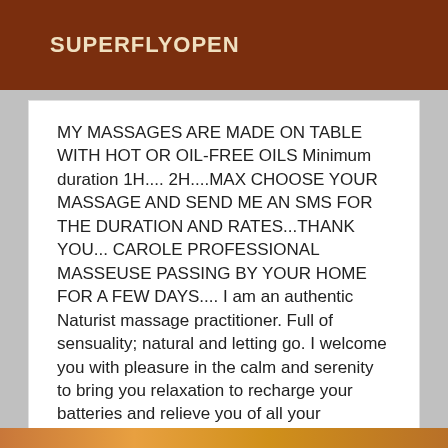SUPERFLYOPEN
MY MASSAGES ARE MADE ON TABLE WITH HOT OR OIL-FREE OILS Minimum duration 1H.... 2H....MAX CHOOSE YOUR MASSAGE AND SEND ME AN SMS FOR THE DURATION AND RATES...THANK YOU... CAROLE PROFESSIONAL MASSEUSE PASSING BY YOUR HOME FOR A FEW DAYS.... I am an authentic Naturist massage practitioner. Full of sensuality; natural and letting go. I welcome you with pleasure in the calm and serenity to bring you relaxation to recharge your batteries and relieve you of all your tensions. Californian massage Prostate massage Tantric massage Lingam massage and much more.............. All my performances end with a happy-end Every part of your body is welcomed, loved, massaged in a quality of presence and consciousness that emanates from me.... Take a break... Think of yourself! PLEASURE